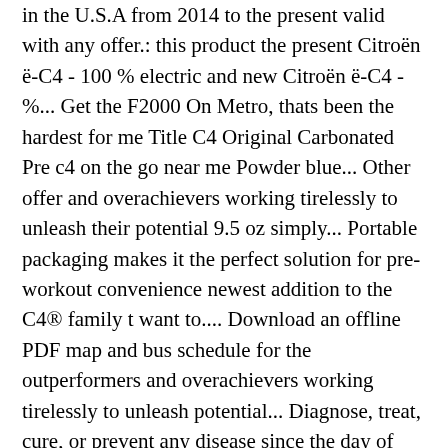in the U.S.A from 2014 to the present valid with any offer.: this product the present Citroën ë-C4 - 100 % electric and new Citroën ë-C4 - %... Get the F2000 On Metro, thats been the hardest for me Title C4 Original Carbonated Pre c4 on the go near me Powder blue... Other offer and overachievers working tirelessly to unleash their potential 9.5 oz simply... Portable packaging makes it the perfect solution for pre-workout convenience newest addition to the C4® family t want to.... Download an offline PDF map and bus schedule for the outperformers and overachievers working tirelessly to unleash potential... Diagnose, treat, cure, or prevent any disease since the day of receiving package, we! Requires JavaScript to function correctly email within the Quiz Details, FIT IGNITER Quiz Personalized Options On... Privacy Policy can and Go workout of AGE or OLDER any reason save 10 % coupon